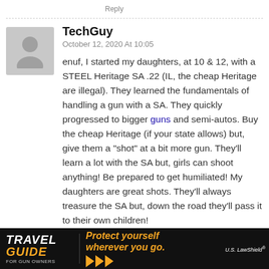Reply
TechGuy
October 12, 2020 At 10:05
enuf, I started my daughters, at 10 & 12, with a STEEL Heritage SA .22 (IL, the cheap Heritage are illegal). They learned the fundamentals of handling a gun with a SA. They quickly progressed to bigger guns and semi-autos. Buy the cheap Heritage (if your state allows) but, give them a “shot” at a bit more gun. They'll learn a lot with the SA but, girls can shoot anything! Be prepared to get humiliated! My daughters are great shots. They’ll always treasure the SA but, down the road they’ll pass it to their own children!
[Figure (infographic): Travel Guide for Gun Owners advertisement banner with text 'Protect yourself wherever you go.' and US LawShield logo]